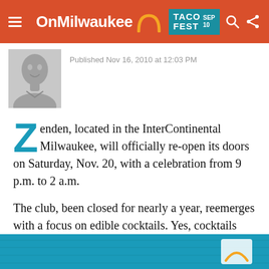OnMilwaukee
Published Nov 16, 2010 at 12:03 PM
Zenden, located in the InterContinental Milwaukee, will officially re-open its doors on Saturday, Nov. 20, with a celebration from 9 p.m. to 2 a.m.
The club, been closed for nearly a year, reemerges with a focus on edible cocktails. Yes, cocktails that you eat.
[Figure (photo): Teal/turquoise colored background image at bottom of page with OnMilwaukee logo partially visible]